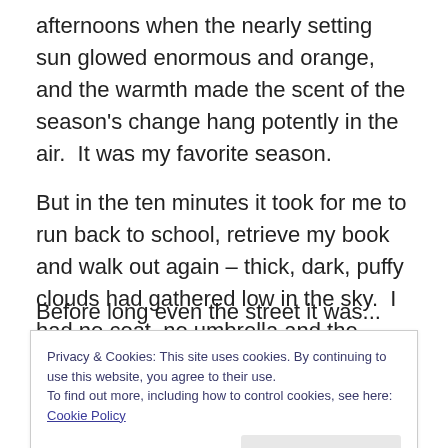afternoons when the nearly setting sun glowed enormous and orange, and the warmth made the scent of the season's change hang potently in the air.  It was my favorite season.
But in the ten minutes it took for me to run back to school, retrieve my book and walk out again – thick, dark, puffy clouds had gathered low in the sky.  I had no coat, no umbrella and the raindrops were beginning to fall.  Huge, round, cold raindrops.
Before long... [partially visible, cut off by cookie banner]
Privacy & Cookies: This site uses cookies. By continuing to use this website, you agree to their use.
To find out more, including how to control cookies, see here: Cookie Policy
to be ruined.